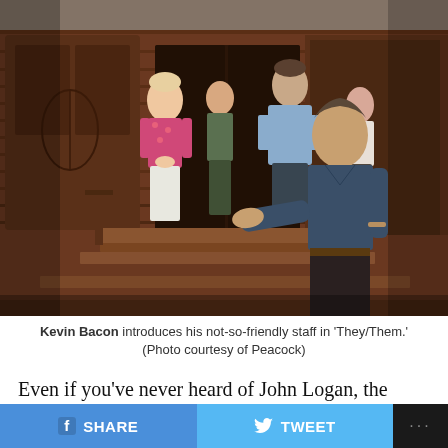[Figure (photo): Kevin Bacon stands in foreground with hand extended, while several cast members stand on steps of a wooden lodge building behind him. Scene from the show They/Them on Peacock.]
Kevin Bacon introduces his not-so-friendly staff in 'They/Them.' (Photo courtesy of Peacock)
Even if you’ve never heard of John Logan, the odds are pretty good you’ve heard his words.
That’s because the former playwright, now writer and
SHARE   TWEET   ...